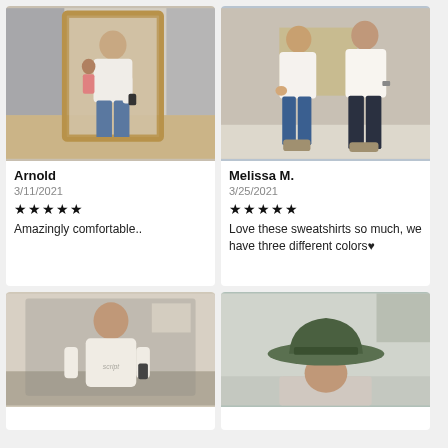[Figure (photo): Person taking a mirror selfie in a store, wearing white sweatshirt and jeans, with another person in background]
Arnold
3/11/2021
★★★★★
Amazingly comfortable..
[Figure (photo): Two people standing together, woman in white sweatshirt and blue jeans, man in white sweatshirt and dark jeans]
Melissa M.
3/25/2021
★★★★★
Love these sweatshirts so much, we have three different colors♥
[Figure (photo): Man taking a mirror selfie wearing a cream/white sweatshirt]
[Figure (photo): Person wearing a green/olive wide-brim hat]